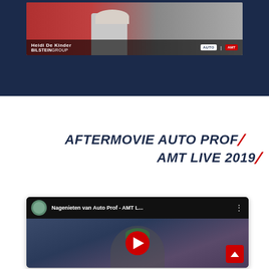[Figure (screenshot): Video interview thumbnail showing Heidi De Kinder from BILSTEINGROUP with AUTO and AMT logos]
AFTERMOVIE AUTO PROF / AMT LIVE 2019
[Figure (screenshot): YouTube video embed: Nagenieten van Auto Prof - AMT L... showing a man in a green hard hat at a trade event with a red play button overlay]